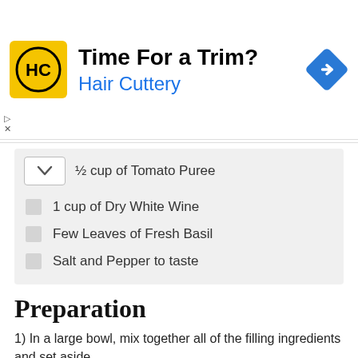[Figure (illustration): Hair Cuttery advertisement banner with yellow logo showing HC initials, headline 'Time For a Trim?', subtext 'Hair Cuttery', and blue diamond arrow icon on the right.]
½ cup of Tomato Puree
1 cup of Dry White Wine
Few Leaves of Fresh Basil
Salt and Pepper to taste
Preparation
1) In a large bowl, mix together all of the filling ingredients and set aside.
2) Using a teaspoon fill each squid with the filling, going about ¾ of the way full. Secure with a toothpick and set aside.